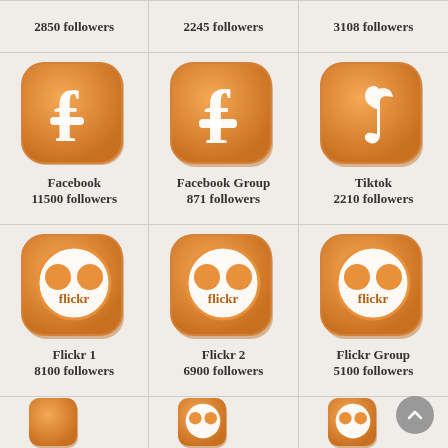2850 followers
2245 followers
3108 followers
[Figure (illustration): Orange rounded square icon with white Facebook 'f' logo]
Facebook
11500 followers
[Figure (illustration): Orange rounded square icon with white Facebook 'f' logo (larger)]
Facebook Group
871 followers
[Figure (illustration): Orange rounded square icon with white TikTok logo]
Tiktok
2210 followers
[Figure (illustration): Orange rounded square icon with white Flickr logo (two circles + flickr text)]
Flickr 1
8100 followers
[Figure (illustration): Orange rounded square icon with white Flickr logo (two circles + flickr text)]
Flickr 2
6900 followers
[Figure (illustration): Orange rounded square icon with white Flickr logo (two circles + flickr text)]
Flickr Group
5100 followers
[Figure (illustration): Partial orange rounded square icons in bottom row (3 icons, partially visible)]